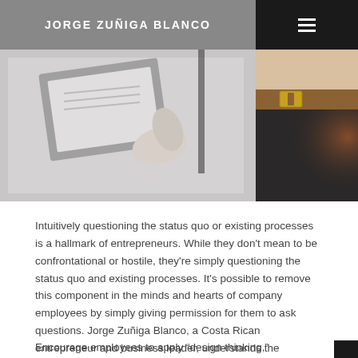JORGE ZUÑIGA BLANCO
[Figure (photo): Two side-by-side photos: left shows a person holding a clipboard/document in a business setting with muted gray tones; right shows a person's torso with a leather belt and dark pants with warm lighting.]
Intuitively questioning the status quo or existing processes is a hallmark of entrepreneurs. While they don't mean to be confrontational or hostile, they're simply questioning the status quo and existing processes. It's possible to remove this component in the minds and hearts of company employees by simply giving permission for them to ask questions. Jorge Zuñiga Blanco, a Costa Rican entrepreneur and business leader, understands the importance and shares three ways for entrepreneurs to help their staff think like they do.
Encourage employees to apply "design thinking," which is focus